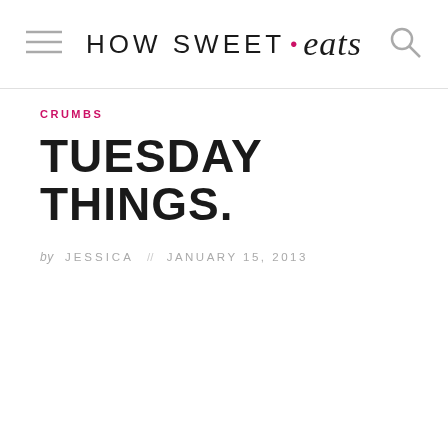HOW SWEET • eats
CRUMBS
TUESDAY THINGS.
by JESSICA // JANUARY 15, 2013